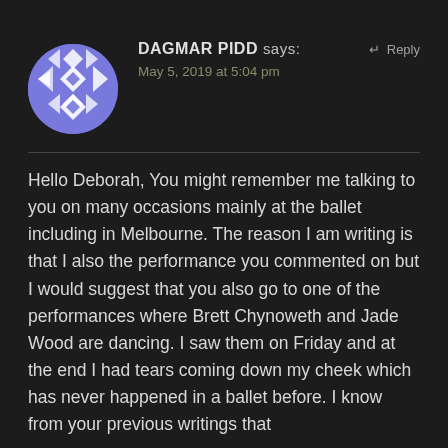[Figure (illustration): Circular avatar with blue/purple geometric diamond pattern on white background]
DAGMAR PIDD says:
↵ Reply
May 5, 2019 at 5:04 pm
Hello Deborah, You might remember me talking to you on many occasions mainly at the ballet including in Melbourne. The reason I am writing is that I also the performance you commented on but I would suggest that you also go to one of the performances where Brett Chynoweth and Jade Wood are dancing. I saw them on Friday and at the end I had tears coming down my cheek which has never happened in a ballet before. I know from your previous writings that